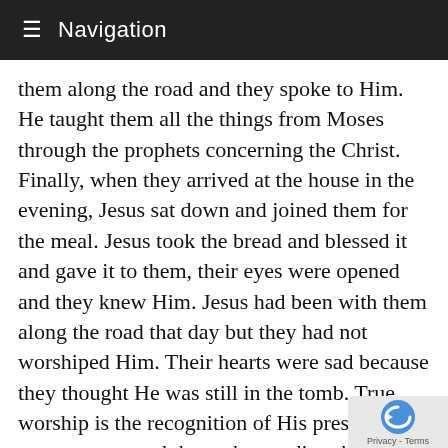≡ Navigation
them along the road and they spoke to Him. He taught them all the things from Moses through the prophets concerning the Christ. Finally, when they arrived at the house in the evening, Jesus sat down and joined them for the meal. Jesus took the bread and blessed it and gave it to them, their eyes were opened and they knew Him. Jesus had been with them along the road that day but they had not worshiped Him. Their hearts were sad because they thought He was still in the tomb. True worship is the recognition of His presence in our presence and the understanding that He knows us and we are open and free and uncovered with Him. The amazing concluding work is this that Jesus said "The Father seeketh such to worship Him." God is looking for those who will worship in His presence His spirit and truth with nothing hidden. If we reveal